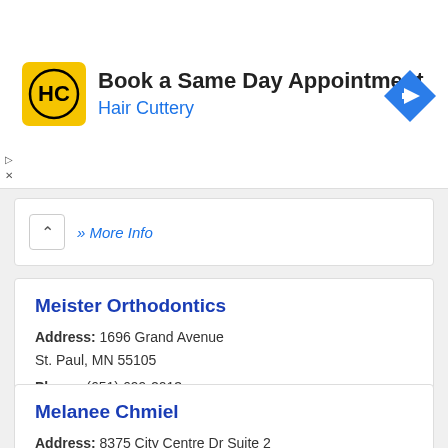[Figure (other): Hair Cuttery advertisement banner with logo, 'Book a Same Day Appointment' text, and navigation arrow icon]
» More Info
Meister Orthodontics
Address: 1696 Grand Avenue St. Paul, MN 55105
Phone: (651) 699-2013
» More Info
Melanee Chmiel
Address: 8375 City Centre Dr Suite 2 St. Paul, MN 55125